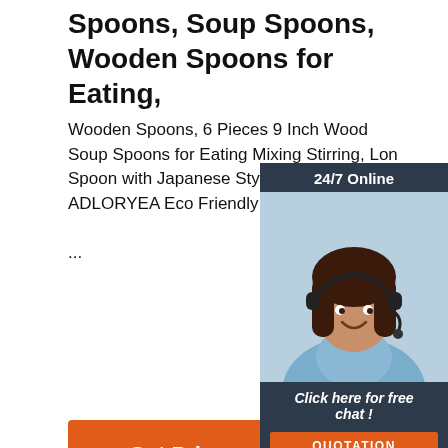Spoons, Soup Spoons, Wooden Spoons for Eating,
Wooden Spoons, 6 Pieces 9 Inch Wood Soup Spoons for Eating Mixing Stirring, Long Spoon with Japanese Style Kitchen U... ADLORYEA Eco Friendly Table Spoon ...
[Figure (photo): Chat widget with woman wearing headset, dark blue background, showing '24/7 Online', 'Click here for free chat!', and 'QUOTATION' button]
[Figure (photo): Orange 'Get Price' button]
[Figure (photo): Black kettle product image at bottom left]
[Figure (photo): TOP badge logo with orange dots and circular metallic base at bottom right]